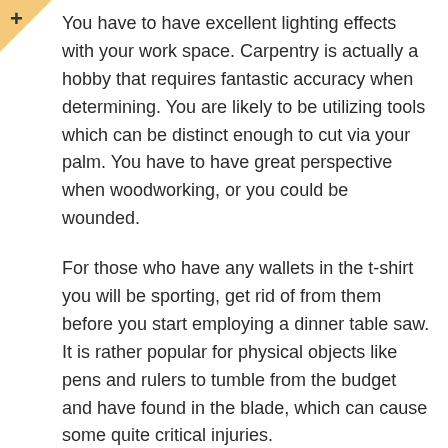You have to have excellent lighting effects with your work space. Carpentry is actually a hobby that requires fantastic accuracy when determining. You are likely to be utilizing tools which can be distinct enough to cut via your palm. You have to have great perspective when woodworking, or you could be wounded.
For those who have any wallets in the t-shirt you will be sporting, get rid of from them before you start employing a dinner table saw. It is rather popular for physical objects like pens and rulers to tumble from the budget and have found in the blade, which can cause some quite critical injuries.
You are able to implement mark with sometimes a brush, or a rag. Function the spot in against the grain, along with it too. You require not really tidy, just get yourself a easy, even jacket around the wood. Then, clean quickly for a lighter weight